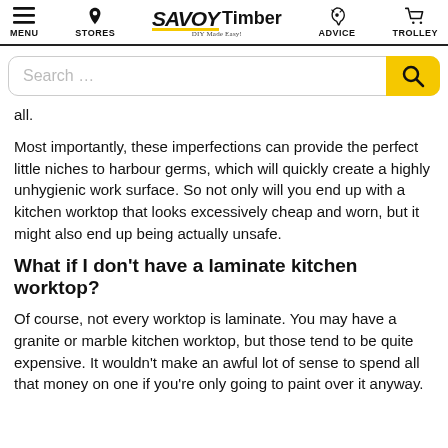MENU | STORES | SAVOY Timber DIY Made Easy! | ADVICE | TROLLEY
Search …
all.
Most importantly, these imperfections can provide the perfect little niches to harbour germs, which will quickly create a highly unhygienic work surface. So not only will you end up with a kitchen worktop that looks excessively cheap and worn, but it might also end up being actually unsafe.
What if I don't have a laminate kitchen worktop?
Of course, not every worktop is laminate. You may have a granite or marble kitchen worktop, but those tend to be quite expensive. It wouldn't make an awful lot of sense to spend all that money on one if you're only going to paint over it anyway.